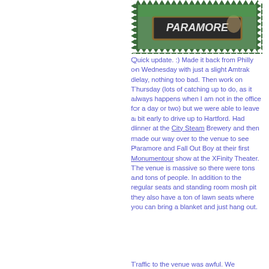[Figure (photo): A stamp-style photo showing a chalkboard sign reading PARAMORE with a green background and concert setting]
Quick update. :) Made it back from Philly on Wednesday with just a slight Amtrak delay, nothing too bad. Then work on Thursday (lots of catching up to do, as it always happens when I am not in the office for a day or two) but we were able to leave a bit early to drive up to Hartford. Had dinner at the City Steam Brewery and then made our way over to the venue to see Paramore and Fall Out Boy at their first Monumentour show at the XFinity Theater. The venue is massive so there were tons and tons of people. In addition to the regular seats and standing room mosh pit they also have a ton of lawn seats where you can bring a blanket and just hang out.
Traffic to the venue was awful. We